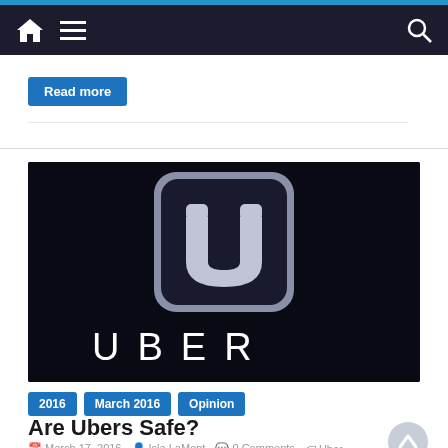Navigation bar with home, menu, and search icons
Read more
[Figure (logo): Uber logo: dark background with the Uber 'U' shield icon in silver/white and the word UBER in white spaced letters below]
2016   March 2016   Opinion
Are Ubers Safe?
March 17, 2016   Isla LaMont   0 Comments   Uber